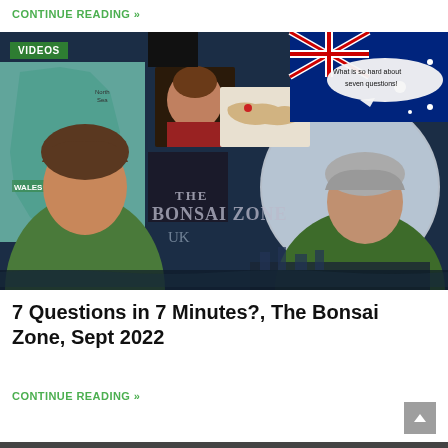CONTINUE READING »
[Figure (photo): Composite promotional image for The Bonsai Zone video series featuring two men, a map of UK/Wales, Australian flag, world map, and text overlay reading 'What is so hard about seven questions!' and 'THE BONSAI ZONE'. Green VIDEOS badge in top-left corner.]
7 Questions in 7 Minutes?, The Bonsai Zone, Sept 2022
CONTINUE READING »